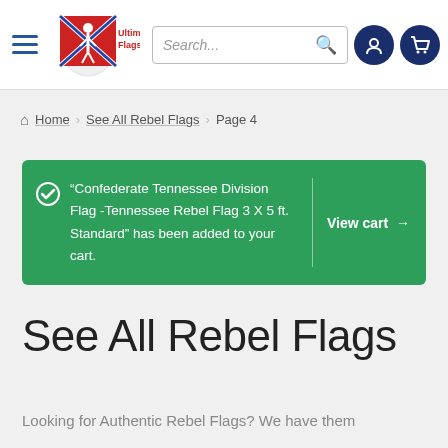Ultimate Flags — navigation bar with hamburger menu, logo, search box, user icon, cart icon
Home > See All Rebel Flags > Page 4
“Confederate Tennessee Division Flag -Tennessee Rebel Flag 3 X 5 ft. Standard” has been added to your cart. View cart →
See All Rebel Flags
Looking for Authentic Rebel Flags? We have them